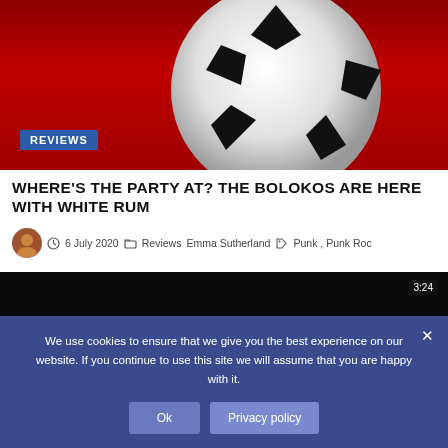[Figure (photo): Red background hero image with a large soccer ball graphic and a 'REVIEWS' badge in the lower left corner]
WHERE'S THE PARTY AT? THE BOLOKOS ARE HERE WITH WHITE RUM
6 July 2020  Reviews  Emma Sutherland  Punk , Punk Rock
[Figure (screenshot): Video player showing a forest scene with 'BIG NOISE RECORDS PRESENTS' text, a play button in the center, and a 3:24 timer in the top right]
We use cookies to ensure that we give you the best experience on our website. If you continue to use this site we will assume that you are happy with it.